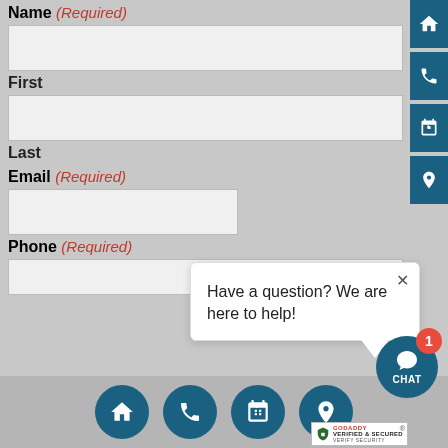Name (Required)
First
Last
Email (Required)
Phone (Required)
[Figure (screenshot): Chat popup with message 'Have a question? We are here to help!' with close button]
[Figure (screenshot): Bottom navigation bar with home, phone, calendar, and location icons in dark teal circles, plus a chat button with badge count of 1, and GoDaddy Verified & Secured badge]